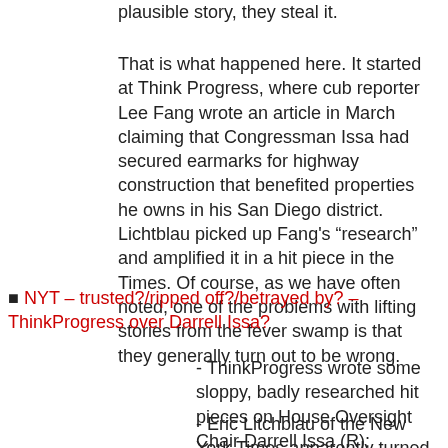plausible story, they steal it.
That is what happened here. It started at Think Progress, where cub reporter Lee Fang wrote an article in March claiming that Congressman Issa had secured earmarks for highway construction that benefited properties he owns in his San Diego district. Lichtblau picked up Fang’s “research” and amplified it in a hit piece in the Times. Of course, as we have often noted, one of the problems with lifting stories from the fever swamp is that they generally turn out to be wrong.
■ NYT – trusted?/ripped off?/betrayed by? – ThinkProgress over Darrell Issa?
- ThinkProgress wrote some sloppy, badly researched hit pieces on House Oversight Chair Darrell Issa (R);
- Eric Litchblau of the New York Times apparently turned them – without attribution – into a extremely sloppy